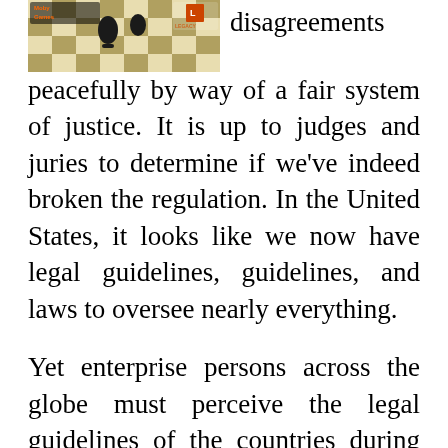[Figure (photo): A chess board scene with game pieces and a logo for 'Moby Games' and 'Legacy' brand visible in the top-left image block.]
disagreements peacefully by way of a fair system of justice. It is up to judges and juries to determine if we've indeed broken the regulation. In the United States, it looks like we now have legal guidelines, guidelines, and laws to oversee nearly everything.
Yet enterprise persons across the globe must perceive the legal guidelines of the countries during which they do enterprise. Thus, the legal professionals who assist them navigate these local legal guidelines must be equipped with language their clients and in-house counsel can understand. Nearly 14 years' of expertise in private authorized practice, specialising in finance, company, business and contract laws. Unique and useful